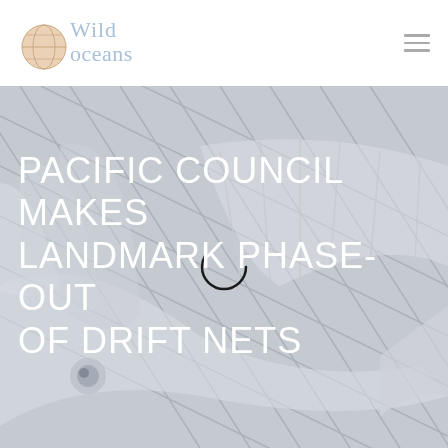Wild Oceans
[Figure (illustration): Gray-toned woodcut-style illustration of a sailfish or marlin caught in a net, overlaid with large white uppercase text reading 'PACIFIC COUNCIL MAKES LANDMARK PHASE-OUT OF DRIFT NETS']
PACIFIC COUNCIL MAKES LANDMARK PHASE-OUT OF DRIFT NETS